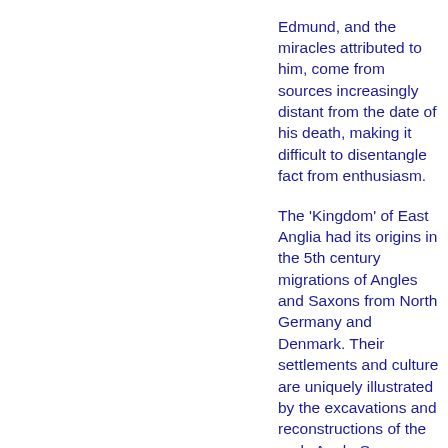Edmund, and the miracles attributed to him, come from sources increasingly distant from the date of his death, making it difficult to disentangle fact from enthusiasm.

The 'Kingdom' of East Anglia had its origins in the 5th century migrations of Angles and Saxons from North Germany and Denmark. Their settlements and culture are uniquely illustrated by the excavations and reconstructions of the early Anglo-Saxon village at West Stow, some